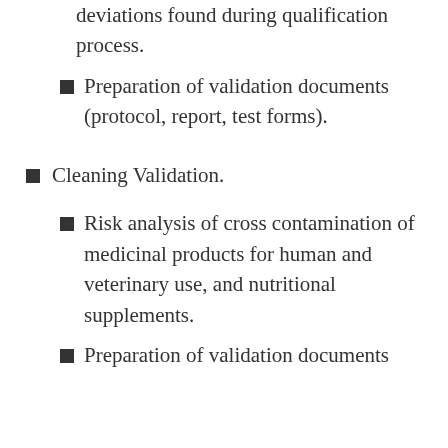deviations found during qualification process.
Preparation of validation documents (protocol, report, test forms).
Cleaning Validation.
Risk analysis of cross contamination of medicinal products for human and veterinary use, and nutritional supplements.
Preparation of validation documents…